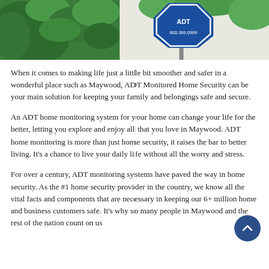[Figure (photo): Photo of an ADT home security sign (blue hexagonal sign with phone number 800.369.0999) surrounded by green foliage against a light background.]
When it comes to making life just a little bit smoother and safer in a wonderful place such as Maywood, ADT Monitored Home Security can be your main solution for keeping your family and belongings safe and secure.
An ADT home monitoring system for your home can change your life for the better, letting you explore and enjoy all that you love in Maywood. ADT home monitoring is more than just home security, it raises the bar to better living. It's a chance to live your daily life without all the worry and stress.
For over a century, ADT monitoring systems have paved the way in home security. As the #1 home security provider in the country, we know all the vital facts and components that are necessary in keeping our 6+ million home and business customers safe. It's why so many people in Maywood and the rest of the nation count on us